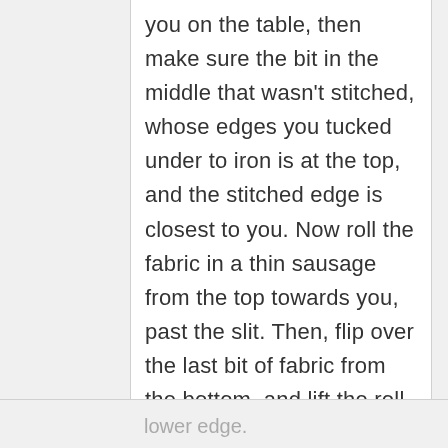you on the table, then make sure the bit in the middle that wasn't stitched, whose edges you tucked under to iron is at the top, and the stitched edge is closest to you. Now roll the fabric in a thin sausage from the top towards you, past the slit. Then, flip over the last bit of fabric from the bottom, and lift the roll, so you can flip up the underside piece, so the wrong side is facing the wrong side of the
lower edge.